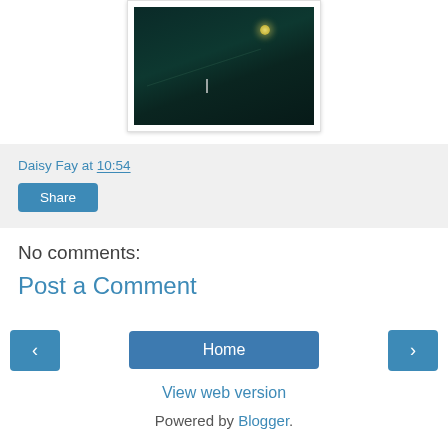[Figure (photo): Dark nighttime photo in a framed border showing dark teal/green foliage with a glowing moon and a cursor/pointer visible]
Daisy Fay at 10:54
Share
No comments:
Post a Comment
‹
Home
›
View web version
Powered by Blogger.